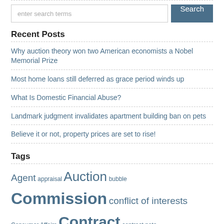[Figure (other): Search bar with text input field placeholder 'enter search terms' and a blue 'Search' button]
Recent Posts
Why auction theory won two American economists a Nobel Memorial Prize
Most home loans still deferred as grace period winds up
What Is Domestic Financial Abuse?
Landmark judgment invalidates apartment building ban on pets
Believe it or not, property prices are set to rise!
Tags
Agent appraisal Auction bubble Commission conflict of interests Consumer Affairs Contract contract note